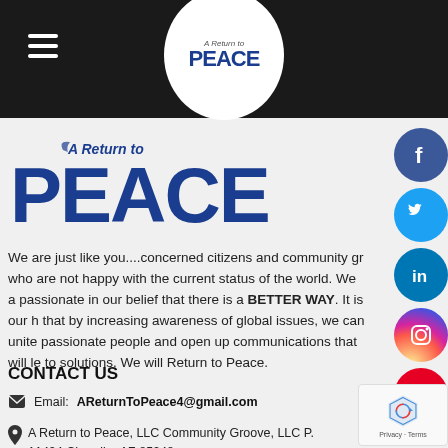A Return to Peace — navigation header with logo
[Figure (logo): A Return to Peace large logo with dove and PEACE text in blue]
[Figure (other): Social media icons: Facebook, Twitter, LinkedIn, Instagram, Pinterest]
We are just like you....concerned citizens and community groups who are not happy with the current status of the world. We are passionate in our belief that there is a BETTER WAY. It is our hope that by increasing awareness of global issues, we can unite passionate people and open up communications that will lead to solutions. We will Return to Peace.
CONTACT US
Email: AReturnToPeace4@gmail.com
A Return to Peace, LLC Community Groove, LLC P. 11424 Chandler AZ 85248